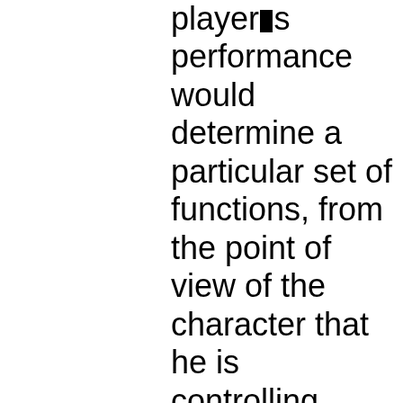player�s performance would determine a particular set of functions, from the point of view of the character that he is controlling. One particular combination of functions (plot) is the winning one; all the rest will lead to the player�s defeat. For example, in an adventure game, sequence number 3 could be the winning one.